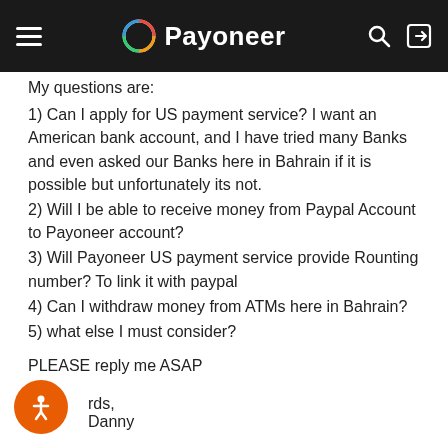Payoneer
My questions are:
1) Can I apply for US payment service? I want an American bank account, and I have tried many Banks and even asked our Banks here in Bahrain if it is possible but unfortunately its not.
2) Will I be able to receive money from Paypal Account to Payoneer account?
3) Will Payoneer US payment service provide Rounting number? To link it with paypal
4) Can I withdraw money from ATMs here in Bahrain?
5) what else I must consider?
PLEASE reply me ASAP
rds,
Danny